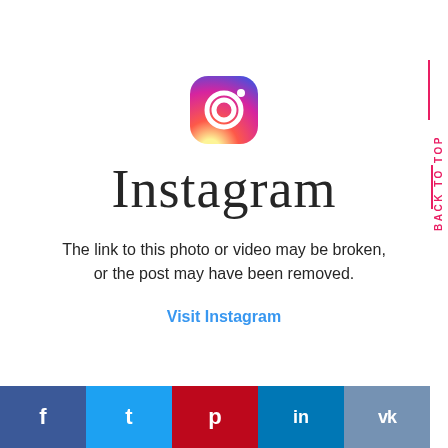[Figure (logo): Instagram camera icon logo with gradient (purple to orange)]
Instagram
The link to this photo or video may be broken, or the post may have been removed.
Visit Instagram
f  t  p  in  vk  (social share bar)